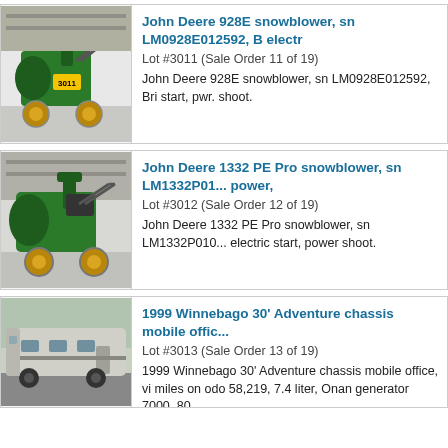[Figure (photo): John Deere 928E snowblower with lot tag #3011, green machine in warehouse setting]
John Deere 928E snowblower, sn LM0928E012592, B electr
Lot #3011 (Sale Order 11 of 19)
John Deere 928E snowblower, sn LM0928E012592, Bri start, pwr. shoot.
[Figure (photo): John Deere 1332 PE Pro snowblower, green machine in warehouse setting]
John Deere 1332 PE Pro snowblower, sn LM1332P01... power,
Lot #3012 (Sale Order 12 of 19)
John Deere 1332 PE Pro snowblower, sn LM1332P010... electric start, power shoot.
[Figure (photo): 1999 Winnebago 30' Adventure chassis mobile office, large RV/bus exterior view]
1999 Winnebago 30' Adventure chassis mobile offic...
Lot #3013 (Sale Order 13 of 19)
1999 Winnebago 30' Adventure chassis mobile office, vi miles on odo 58,219, 7.4 liter, Onan generator 7000, 80...